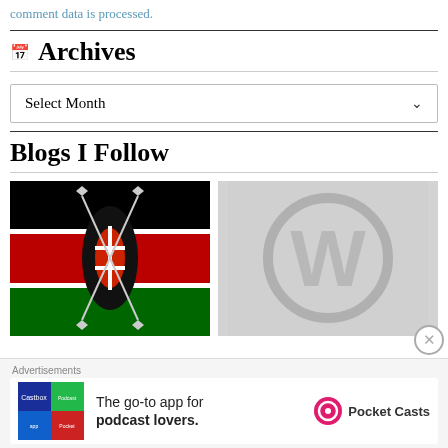comment data is processed.
Archives
Select Month
Blogs I Follow
[Figure (photo): Kenya flag with Maasai shield and spears emblem]
[Figure (logo): WordPress logo on grey background]
Advertisements
[Figure (infographic): Pocket Casts advertisement: The go-to app for podcast lovers.]